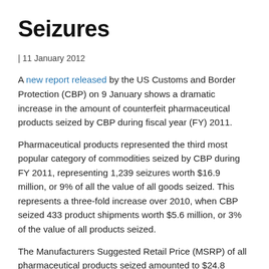Seizures
| 11 January 2012
A new report released by the US Customs and Border Protection (CBP) on 9 January shows a dramatic increase in the amount of counterfeit pharmaceutical products seized by CBP during fiscal year (FY) 2011.
Pharmaceutical products represented the third most popular category of commodities seized by CBP during FY 2011, representing 1,239 seizures worth $16.9 million, or 9% of all the value of all goods seized. This represents a three-fold increase over 2010, when CBP seized 433 product shipments worth $5.6 million, or 3% of the value of all products seized.
The Manufacturers Suggested Retail Price (MSRP) of all pharmaceutical products seized amounted to $24.8 million in FY 2011.